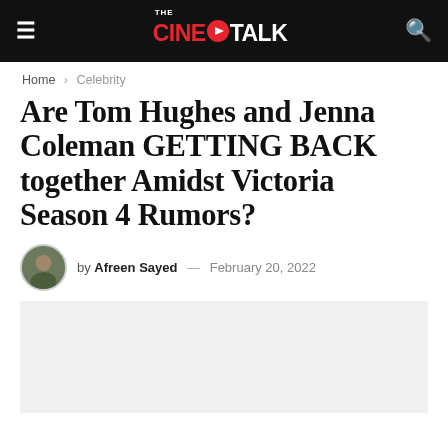THE CINE TALK
Home > Celebrity
Are Tom Hughes and Jenna Coleman GETTING BACK together Amidst Victoria Season 4 Rumors?
by Afreen Sayed — February 20, 2022
[Figure (photo): Article featured image placeholder (light gray background)]